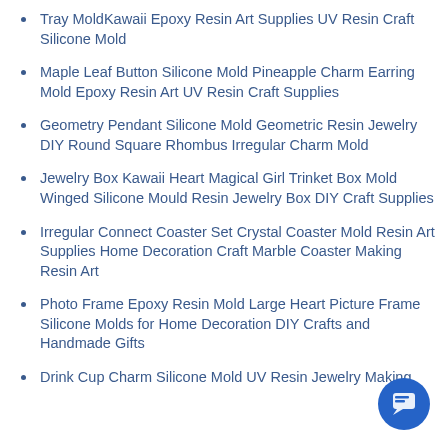Tray MoldKawaii Epoxy Resin Art Supplies UV Resin Craft Silicone Mold
Maple Leaf Button Silicone Mold Pineapple Charm Earring Mold Epoxy Resin Art UV Resin Craft Supplies
Geometry Pendant Silicone Mold Geometric Resin Jewelry DIY Round Square Rhombus Irregular Charm Mold
Jewelry Box Kawaii Heart Magical Girl Trinket Box Mold Winged Silicone Mould Resin Jewelry Box DIY Craft Supplies
Irregular Connect Coaster Set Crystal Coaster Mold Resin Art Supplies Home Decoration Craft Marble Coaster Making Resin Art
Photo Frame Epoxy Resin Mold Large Heart Picture Frame Silicone Molds for Home Decoration DIY Crafts and Handmade Gifts
Drink Cup Charm Silicone Mold UV Resin Jewelry Making